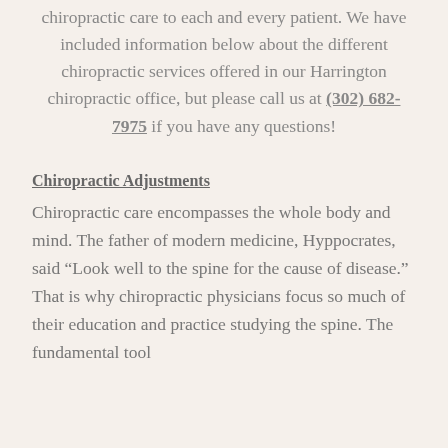chiropractic care to each and every patient. We have included information below about the different chiropractic services offered in our Harrington chiropractic office, but please call us at (302) 682-7975 if you have any questions!
Chiropractic Adjustments
Chiropractic care encompasses the whole body and mind. The father of modern medicine, Hyppocrates, said “Look well to the spine for the cause of disease.” That is why chiropractic physicians focus so much of their education and practice studying the spine. The fundamental tool